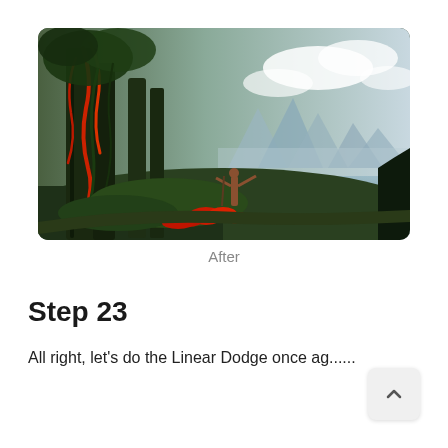[Figure (illustration): Fantasy landscape artwork showing a figure standing on mossy terrain with arms outstretched, surrounded by tall dark trees with red vines/plants, red flowers in the foreground, and misty mountain peaks and water in the background. The scene has a cinematic, digital painting style.]
After
Step 23
All right, let's do the Linear Dodge once ag......